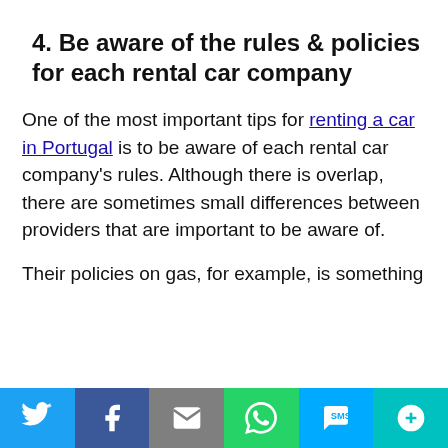4. Be aware of the rules & policies for each rental car company
One of the most important tips for renting a car in Portugal is to be aware of each rental car company's rules. Although there is overlap, there are sometimes small differences between providers that are important to be aware of.
Their policies on gas, for example, is something
[Figure (other): Social sharing bar with Twitter, Facebook, Email, WhatsApp, SMS, and More buttons]